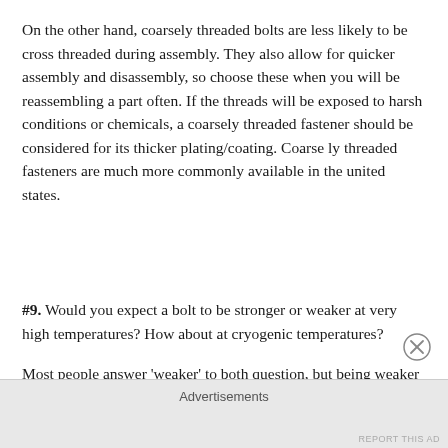On the other hand, coarsely threaded bolts are less likely to be cross threaded during assembly. They also allow for quicker assembly and disassembly, so choose these when you will be reassembling a part often. If the threads will be exposed to harsh conditions or chemicals, a coarsely threaded fastener should be considered for its thicker plating/coating. Coarse ly threaded fasteners are much more commonly available in the united states.
#9. Would you expect a bolt to be stronger or weaker at very high temperatures? How about at cryogenic temperatures?
Most people answer 'weaker' to both question, but being weaker at both temperatures doesn't even make sense when you think about it. Why would steel be strongest at whatever
Advertisements